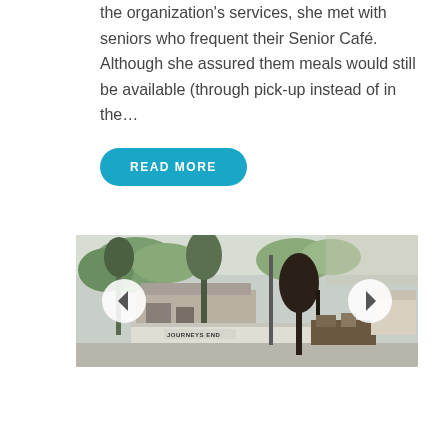the organization's services, she met with seniors who frequent their Senior Café. Although she assured them meals would still be available (through pick-up instead of in the...
READ MORE
[Figure (photo): Outdoor scene showing a building with trees, some fire damage on the right side, and a sign reading 'JOURNEYS END'. Navigation arrows on left and right sides of the image.]